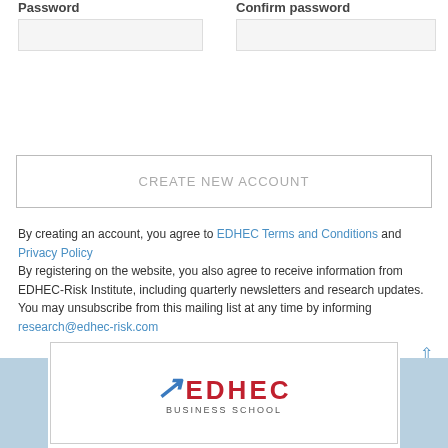Password
Confirm password
CREATE NEW ACCOUNT
By creating an account, you agree to EDHEC Terms and Conditions and Privacy Policy
By registering on the website, you also agree to receive information from EDHEC-Risk Institute, including quarterly newsletters and research updates. You may unsubscribe from this mailing list at any time by informing research@edhec-risk.com
[Figure (logo): EDHEC Business School logo]